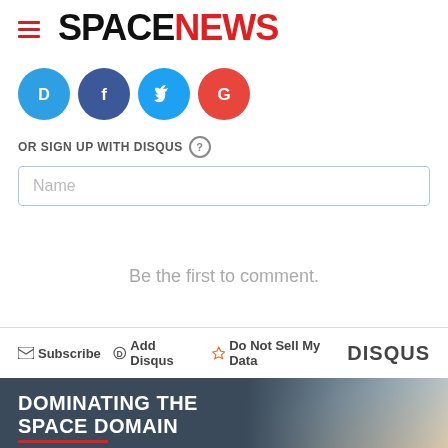SPACENEWS
[Figure (logo): Social login icons: Disqus (blue), Facebook (dark blue), Twitter (light blue), Google (red)]
OR SIGN UP WITH DISQUS ?
Name
Be the first to comment.
Subscribe  Add Disqus  Do Not Sell My Data  DISQUS
[Figure (photo): L3Harris advertisement: DOMINATING THE SPACE DOMAIN — L3Harris space superiority technology, with sky background]